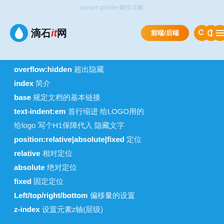cursor:pointer属性详解
[Figure (logo): 滴石it网 logo with water drop icon]
overflow:hidden 超出隐藏
index 简介
base 规定文档的基本链接
text-indent:em 首行缩进 给LOGO用的
给logo 写个H1保障代入 隐藏文字
position:relative|absolute|fixed 定位
relative 相对定位
absolute 绝对定位
fixed 固定定位
Left/top/right/bottom 偏移量的设置
z-index 设置元素z轴(层级)